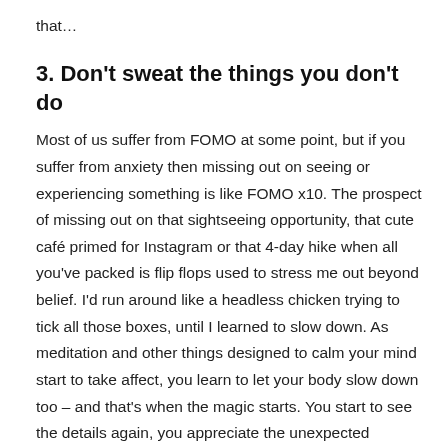that…
3. Don't sweat the things you don't do
Most of us suffer from FOMO at some point, but if you suffer from anxiety then missing out on seeing or experiencing something is like FOMO x10. The prospect of missing out on that sightseeing opportunity, that cute café primed for Instagram or that 4-day hike when all you've packed is flip flops used to stress me out beyond belief. I'd run around like a headless chicken trying to tick all those boxes, until I learned to slow down. As meditation and other things designed to calm your mind start to take affect, you learn to let your body slow down too – and that's when the magic starts. You start to see the details again, you appreciate the unexpected moments and